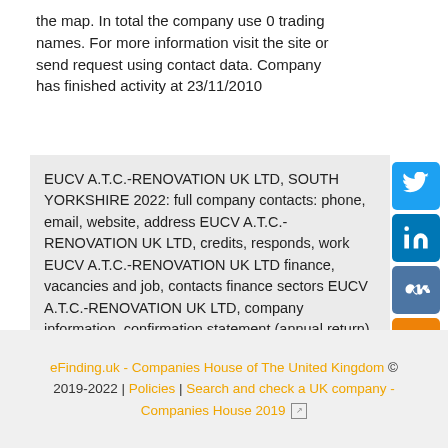the map. In total the company use 0 trading names. For more information visit the site or send request using contact data. Company has finished activity at 23/11/2010
EUCV A.T.C.-RENOVATION UK LTD, SOUTH YORKSHIRE 2022: full company contacts: phone, email, website, address EUCV A.T.C.-RENOVATION UK LTD, credits, responds, work EUCV A.T.C.-RENOVATION UK LTD finance, vacancies and job, contacts finance sectors EUCV A.T.C.-RENOVATION UK LTD, company information, confirmation statement (annual return), company accounts
eFinding.uk - Companies House of The United Kingdom © 2019-2022 | Policies | Search and check a UK company - Companies House 2019 [external link]